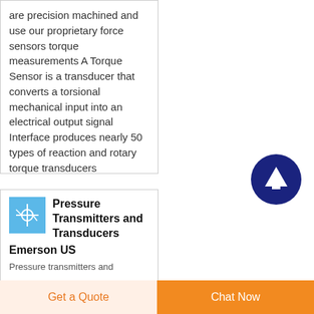are precision machined and use our proprietary force sensors torque measurements A Torque Sensor is a transducer that converts a torsional mechanical input into an electrical output signal Interface produces nearly 50 types of reaction and rotary torque transducers
[Figure (illustration): Small thumbnail image of pressure transmitter/transducer device with blue background]
Pressure Transmitters and Transducers Emerson US
Pressure transmitters and
Get a Quote
Chat Now